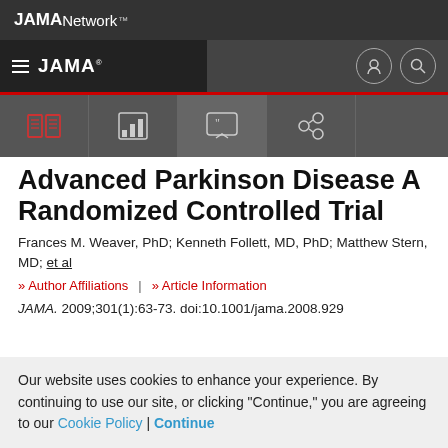JAMA Network
Advanced Parkinson Disease A Randomized Controlled Trial
Frances M. Weaver, PhD; Kenneth Follett, MD, PhD; Matthew Stern, MD; et al
Author Affiliations | Article Information
JAMA. 2009;301(1):63-73. doi:10.1001/jama.2008.929
Our website uses cookies to enhance your experience. By continuing to use our site, or clicking "Continue," you are agreeing to our Cookie Policy | Continue